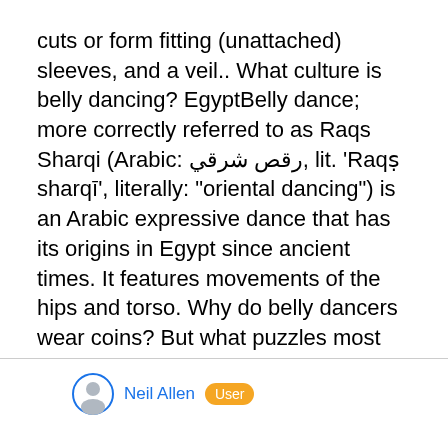cuts or form fitting (unattached) sleeves, and a veil.. What culture is belly dancing? EgyptBelly dance; more correctly referred to as Raqs Sharqi (Arabic: رقص شرقي, lit. 'Raqṣ sharqī', literally: "oriental dancing") is an Arabic expressive dance that has its origins in Egypt since ancient times. It features movements of the hips and torso. Why do belly dancers wear coins? But what puzzles most people is why belly dancers wear coins. ... They would then sew these coins onto their hips scarves, saving them for dowry. When a woman had earned enough, she could return home to a proper and happy marriage and give up dancing. Who was the first belly dancer? the ghawazeeThe first…
Neil Allen  User